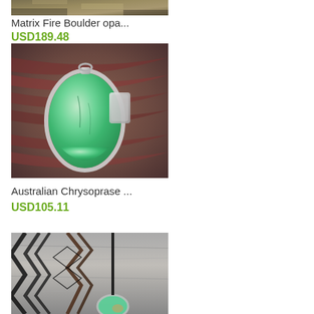[Figure (photo): Top portion of Matrix Fire Boulder opal product photo (cropped), showing rocky/earthy mineral surface]
Matrix Fire Boulder opa...
USD189.48
[Figure (photo): Australian Chrysoprase pendant in silver setting on braided dark red/maroon macrame cord, teardrop-shaped green stone]
Australian Chrysoprase ...
USD105.11
[Figure (photo): Bottom product photo (partially visible), showing black and brown macrame cord with small green stone pendant on wooden surface]